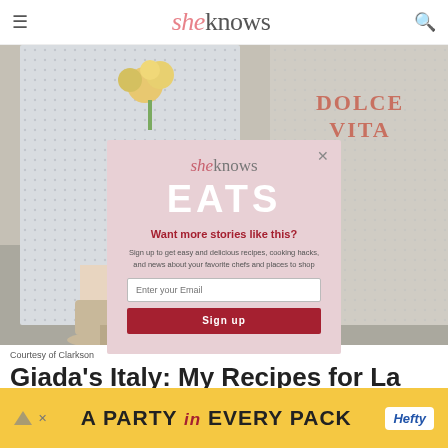sheknows
[Figure (photo): Hero image showing woman's lower body in floral dress and beige heeled mule shoes, with 'DOLCE VITA' text overlay on right side]
[Figure (infographic): SheKnows EATS email signup popup modal with pink background, 'Want more stories like this?' headline, email input field, and Sign up button]
Courtesy of Clarkson
Giada's Italy: My Recipes for La Dolce Vita: A Cookbook
$16.99
[Figure (infographic): Hefty brand advertisement banner with yellow background reading 'A PARTY in EVERY PACK' with Hefty logo]